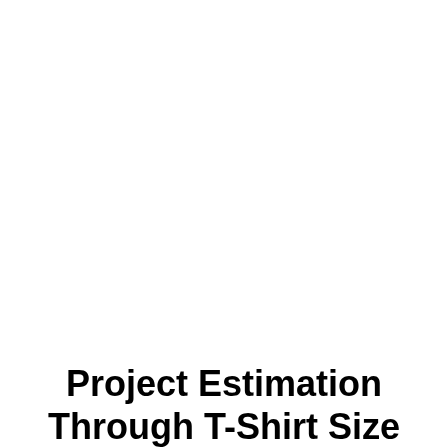Project Estimation Through T-Shirt Size